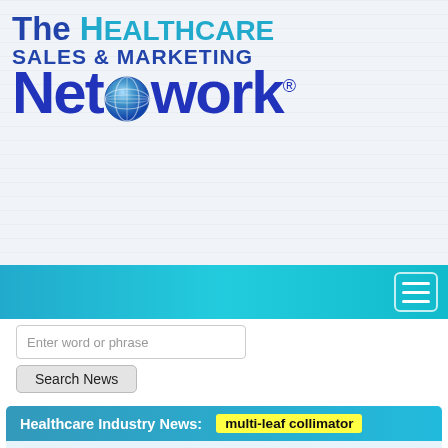[Figure (logo): The Healthcare Sales & Marketing Network logo with globe icon]
[Figure (other): Teal navigation bar with hamburger menu button]
Enter word or phrase
Search News
Healthcare Industry News: multi-leaf collimator
Devices   Oncology
News Release - October 30, 2009
Varian Medical Systems Selected to Supply Major Project to Bring Advanced